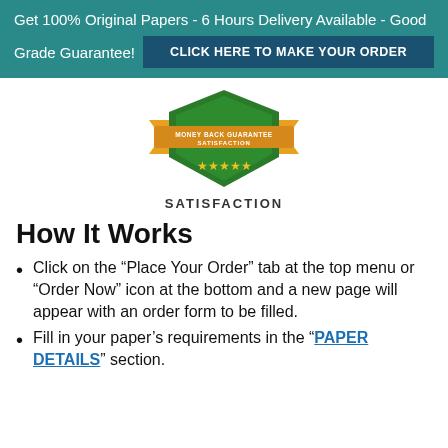Get 100% Original Papers - 6 Hours Delivery Available - Good Grade Guarantee! CLICK HERE TO MAKE YOUR ORDER
[Figure (illustration): Money Back Guarantee Satisfaction badge/shield in green and gold]
SATISFACTION
How It Works
Click on the “Place Your Order” tab at the top menu or “Order Now” icon at the bottom and a new page will appear with an order form to be filled.
Fill in your paper’s requirements in the “PAPER DETAILS” section.